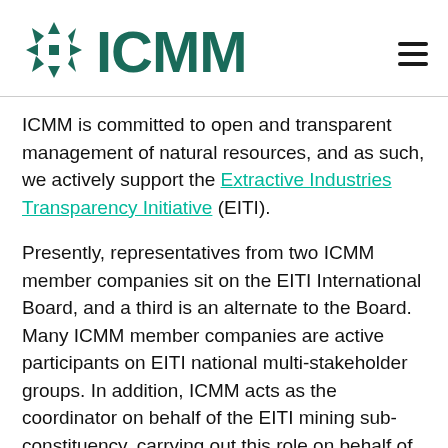[Figure (logo): ICMM logo: geometric snowflake/star icon in teal followed by bold teal text 'ICMM']
ICMM is committed to open and transparent management of natural resources, and as such, we actively support the Extractive Industries Transparency Initiative (EITI).
Presently, representatives from two ICMM member companies sit on the EITI International Board, and a third is an alternate to the Board. Many ICMM member companies are active participants on EITI national multi-stakeholder groups. In addition, ICMM acts as the coordinator on behalf of the EITI mining sub-constituency, carrying out this role on behalf of all EITI supporting mining companies, not just ICMM members.